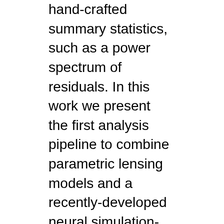hand-crafted summary statistics, such as a power spectrum of residuals. In this work we present the first analysis pipeline to combine parametric lensing models and a recently-developed neural simulation-based inference technique called truncated marginal neural ratio estimation (TMNRE) to constrain the warm dark matter halo